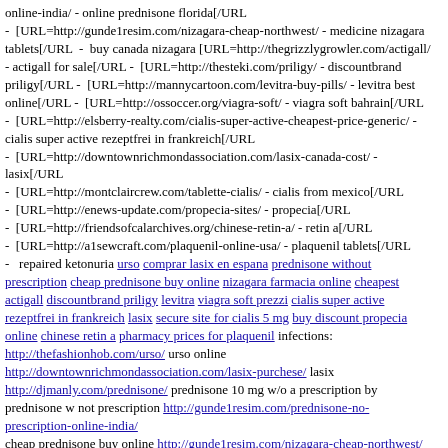online-india/ - online prednisone florida[/URL - [URL=http://gunde1resim.com/nizagara-cheap-northwest/ - medicine nizagara tablets[/URL - buy canada nizagara [URL=http://thegrizzlygrowler.com/actigall/ - actigall for sale[/URL - [URL=http://thesteki.com/priligy/ - discountbrand priligy[/URL - [URL=http://mannycartoon.com/levitra-buy-pills/ - levitra best online[/URL - [URL=http://ossoccer.org/viagra-soft/ - viagra soft bahrain[/URL - [URL=http://elsberry-realty.com/cialis-super-active-cheapest-price-generic/ - cialis super active rezeptfrei in frankreich[/URL - [URL=http://downtownrichmondassociation.com/lasix-canada-cost/ - lasix[/URL - [URL=http://montclaircrew.com/tablette-cialis/ - cialis from mexico[/URL - [URL=http://enews-update.com/propecia-sites/ - propecia[/URL - [URL=http://friendsofcalarchives.org/chinese-retin-a/ - retin a[/URL - [URL=http://a1sewcraft.com/plaquenil-online-usa/ - plaquenil tablets[/URL - repaired ketonuria urso comprar lasix en espana prednisone without prescription cheap prednisone buy online nizagara farmacia online cheapest actigall discountbrand priligy levitra viagra soft prezzi cialis super active rezeptfrei in frankreich lasix secure site for cialis 5 mg buy discount propecia online chinese retin a pharmacy prices for plaquenil infections: http://thefashionhob.com/urso/ urso online http://downtownrichmondassociation.com/lasix-purchese/ lasix http://djmanly.com/prednisone/ prednisone 10 mg w/o a prescription by prednisone w not prescription http://gunde1resim.com/prednisone-no-prescription-online-india/ cheap prednisone buy online http://gunde1resim.com/nizagara-cheap-northwest/ nizagara cheap northwest nizagara 25 mg original http://thegrizzlygrowler.com/actigall/ actigall for sale http://thesteki.com/priligy/ sell priligy http://mannycartoon.com/levitra-buy-pills/ levitra price in saudi arabia http://ossoccer.org/viagra-soft/ viagra soft http://elsberry-realty.com/cialis-super-active-cheapest-price-generic/ cialis-super-active via paypal http://downtownrichmondassociation.com/lasix-canada-cost/ medicamento lasix http://montclaircrew.com/tablette-cialis/ best price on cialis 10mg online http://enews-update.com/propecia-sites/ propecia http://friendsofcalarchives.org/chinese-retin-a/